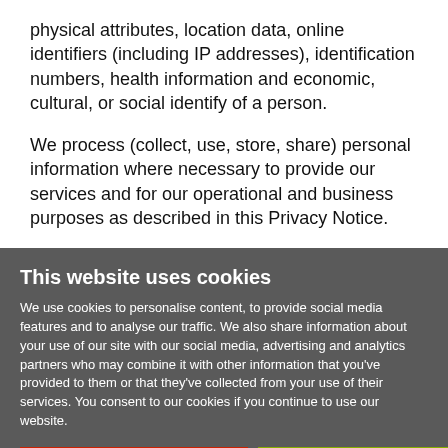physical attributes, location data, online identifiers (including IP addresses), identification numbers, health information and economic, cultural, or social identify of a person.
We process (collect, use, store, share) personal information where necessary to provide our services and for our operational and business purposes as described in this Privacy Notice.
We want to be clear about our privacy practices so that you can make informed choices about the use of your
This website uses cookies
We use cookies to personalise content, to provide social media features and to analyse our traffic. We also share information about your use of our site with our social media, advertising and analytics partners who may combine it with other information that you've provided to them or that they've collected from your use of their services. You consent to our cookies if you continue to use our website.
Use necessary cookies only
Allow all cookies
Show details